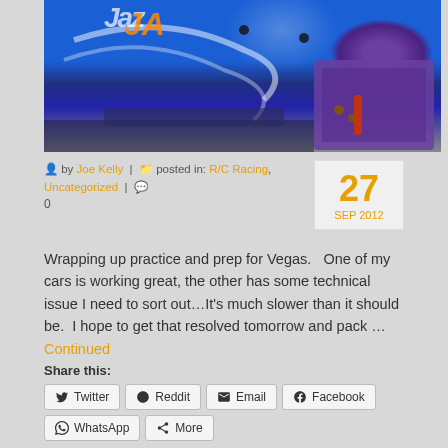[Figure (photo): Close-up photo of a blue RC car body with Hot Wheels branding and a purple parts box with tools]
by Joe Kelly | posted in: R/C Racing, Uncategorized | 0
27 SEP 2012
Wrapping up practice and prep for Vegas.   One of my cars is working great, the other has some technical issue I need to sort out…It's much slower than it should be.  I hope to get that resolved tomorrow and pack … Continued
Share this:
Twitter
Reddit
Email
Facebook
WhatsApp
More